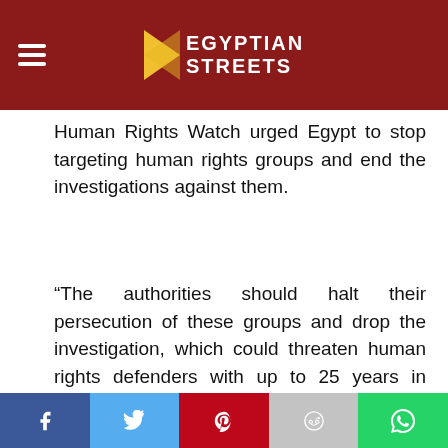Egyptian Streets
Human Rights Watch urged Egypt to stop targeting human rights groups and end the investigations against them.
“The authorities should halt their persecution of these groups and drop the investigation, which could threaten human rights defenders with up to 25 years in prison, the organizations said,” a statement signed by 14 organizations, including HRW, read.
[Figure (photo): Advertisement banner showing Birmingham Green logo and two people in a medical/office setting]
Social share bar: Facebook, Twitter, Pinterest, Reddit, WhatsApp